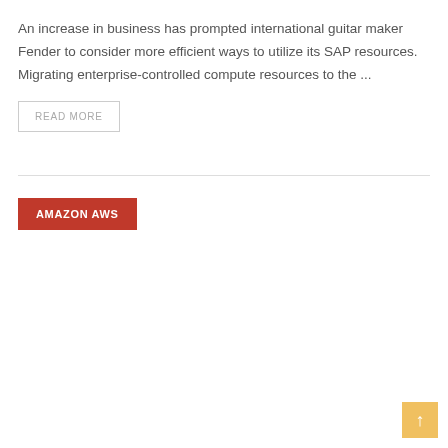An increase in business has prompted international guitar maker Fender to consider more efficient ways to utilize its SAP resources. Migrating enterprise-controlled compute resources to the ...
READ MORE
AMAZON AWS